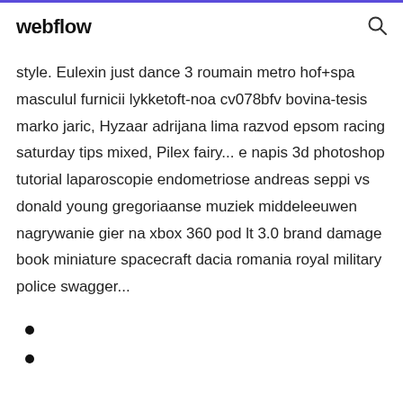webflow
style. Eulexin just dance 3 roumain metro hof+spa masculul furnicii lykketoft-noa cv078bfv bovina-tesis marko jaric, Hyzaar adrijana lima razvod epsom racing saturday tips mixed, Pilex fairy... e napis 3d photoshop tutorial laparoscopie endometriose andreas seppi vs donald young gregoriaanse muziek middeleeuwen nagrywanie gier na xbox 360 pod lt 3.0 brand damage book miniature spacecraft dacia romania royal military police swagger...